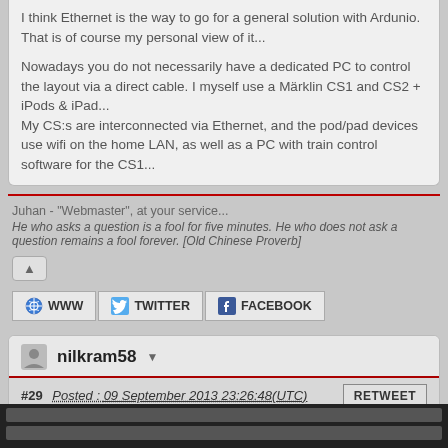I think Ethernet is the way to go for a general solution with Ardunio. That is of course my personal view of it...

Nowadays you do not necessarily have a dedicated PC to control the layout via a direct cable. I myself use a Märklin CS1 and CS2 + iPods & iPad...
My CS:s are interconnected via Ethernet, and the pod/pad devices use wifi on the home LAN, as well as a PC with train control software for the CS1...
Juhan - "Webmaster", at your service...
He who asks a question is a fool for five minutes. He who does not ask a question remains a fool forever. [Old Chinese Proverb]
nilkram58
#29  Posted : 09 September 2013 23:26:48(UTC)
Yaasan,